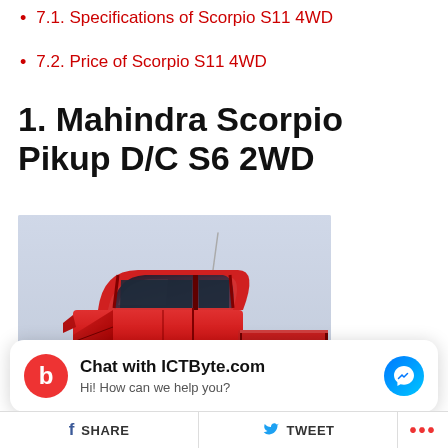7.1. Specifications of Scorpio S11 4WD
7.2. Price of Scorpio S11 4WD
1. Mahindra Scorpio Pikup D/C S6 2WD
[Figure (photo): Red Mahindra Scorpio Pikup double cab pickup truck on a light blue/grey background]
Chat with ICTByte.com
Hi! How can we help you?